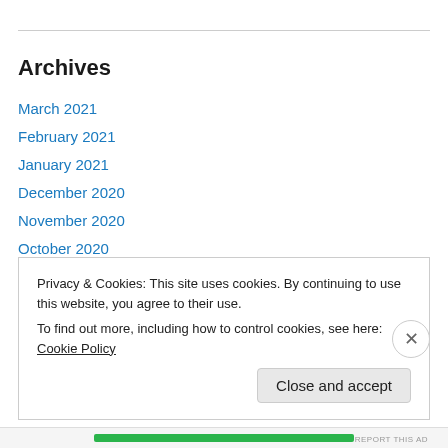Archives
March 2021
February 2021
January 2021
December 2020
November 2020
October 2020
September 2020
July 2020
June 2020
Privacy & Cookies: This site uses cookies. By continuing to use this website, you agree to their use.
To find out more, including how to control cookies, see here: Cookie Policy
Close and accept